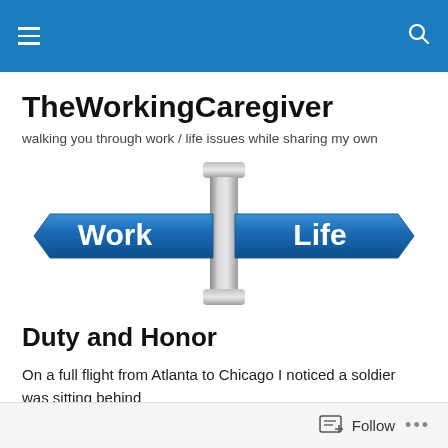TheWorkingCaregiver — site navigation bar
TheWorkingCaregiver
walking you through work / life issues while sharing my own
[Figure (illustration): Two blue directional arrow signs on a pole reading 'Work' and 'Life']
Duty and Honor
On a full flight from Atlanta to Chicago I noticed a soldier was sitting behind
Follow ...